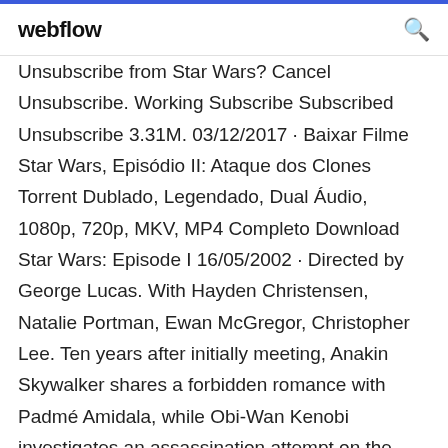webflow
Unsubscribe from Star Wars? Cancel Unsubscribe. Working Subscribe Subscribed Unsubscribe 3.31M. 03/12/2017 · Baixar Filme Star Wars, Episódio II: Ataque dos Clones Torrent Dublado, Legendado, Dual Áudio, 1080p, 720p, MKV, MP4 Completo Download Star Wars: Episode I 16/05/2002 · Directed by George Lucas. With Hayden Christensen, Natalie Portman, Ewan McGregor, Christopher Lee. Ten years after initially meeting, Anakin Skywalker shares a forbidden romance with Padmé Amidala, while Obi-Wan Kenobi investigates an assassination attempt on the senator and discovers a secret clone army